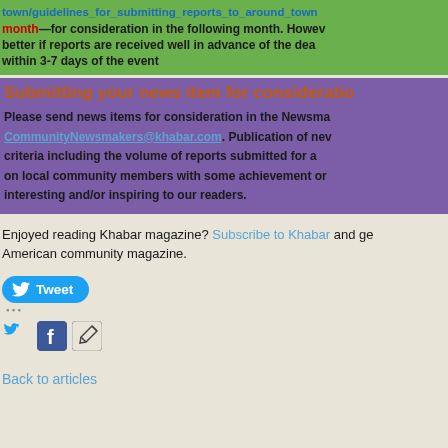town/guidelines_for_submitting_reports_to_around_town — by the 15th of each month—for consideration in the following month. However, better if reports are received well in advance of the deadline. Ideally within 3-7 days of the event
Submitting your news item for consideration
Please send news items for consideration in the Newsmakers section to CommunityNewsmakers@khabar.com. Publication of news items depends on criteria including the volume of reports submitted for a given month, focus on local community members with some achievement or news that would be interesting and/or inspiring to our readers.
Enjoyed reading Khabar magazine? Subscribe to Khabar and get the South Asian American community magazine.
[Figure (other): Tweet button (Twitter share button, blue rounded rectangle with bird icon and 'Tweet' text)]
[Figure (other): Social share icons: Twitter bird, Facebook 'f', and edit/pencil icon]
Back to articles